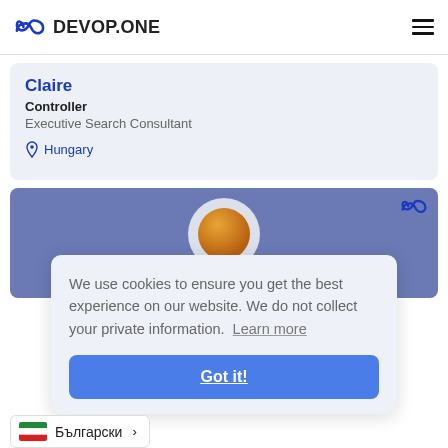[Figure (logo): DEVOP.ONE logo with infinity icon in blue]
Claire
Controller
Executive Search Consultant
Hungary
[Figure (photo): Profile card with blue-gray background and avatar circle]
We use cookies to ensure you get the best experience on our website. We do not collect your private information. Learn more
Got it!
Български